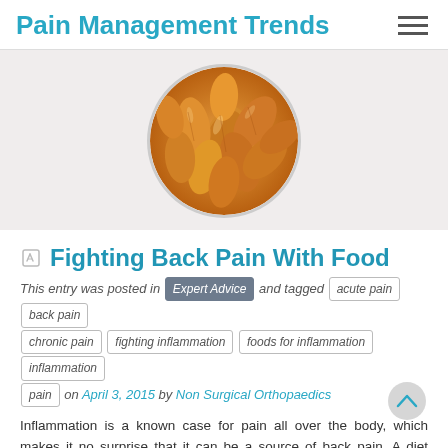Pain Management Trends
[Figure (photo): Circular cropped photo of almonds close-up, warm orange-brown tones]
Fighting Back Pain With Food
This entry was posted in Expert Advice and tagged acute pain back pain chronic pain fighting inflammation foods for inflammation inflammation pain on April 3, 2015 by Non Surgical Orthopaedics
Inflammation is a known case for pain all over the body, which makes it no surprise that it can be a source of back pain. A diet consisting of foods that fight inflammation is ideal for anyone suffering with chronic pain. Here are some great tips on foods